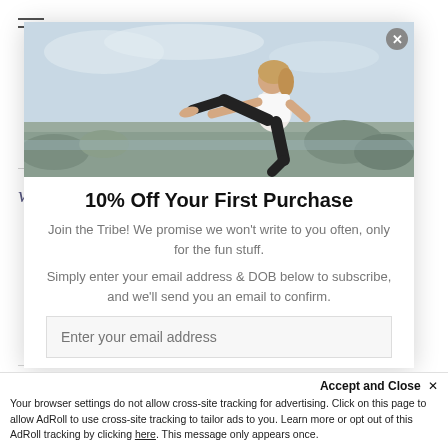[Figure (photo): Woman in athletic wear (white tank top, black leggings) posing outdoors on rocky beach background]
10% Off Your First Purchase
Join the Tribe! We promise we won't write to you often, only for the fun stuff.
Simply enter your email address & DOB below to subscribe, and we'll send you an email to confirm.
weight an
4.9  42
Write A
REVIEWS
Accept and Close ✕
Your browser settings do not allow cross-site tracking for advertising. Click on this page to allow AdRoll to use cross-site tracking to tailor ads to you. Learn more or opt out of this AdRoll tracking by clicking here. This message only appears once.